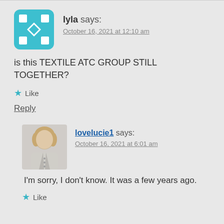[Figure (illustration): Teal geometric avatar icon with grid/cross pattern inside an octagon shape for user lyla]
lyla says:
October 16, 2021 at 12:10 am
is this TEXTILE ATC GROUP STILL TOGETHER?
Like
Reply
[Figure (photo): Photo of a person with blonde hair wearing a light gray jacket, standing against a light background]
lovelucie1 says:
October 16, 2021 at 6:01 am
I'm sorry, I don't know. It was a few years ago.
Like